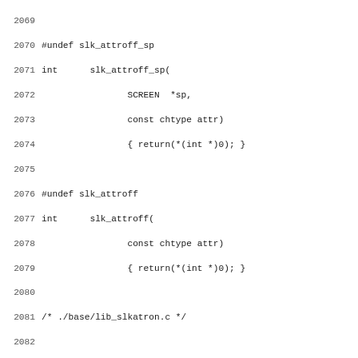Source code listing lines 2069-2100 showing C function stubs for slk_attroff_sp, slk_attroff, slk_attron_sp, slk_attron, slk_attrset_sp with #undef macros and file comments for lib_slkatron.c, lib_slkatrset.c